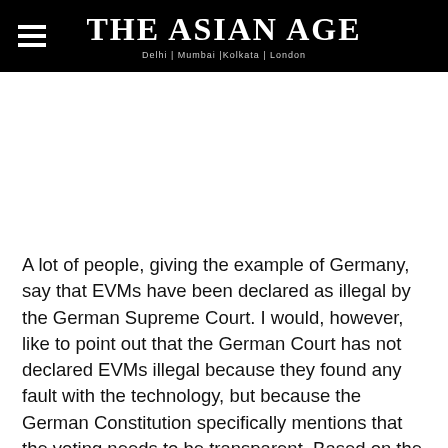The Asian Age — Delhi | Mumbai |Kolkata | London
A lot of people, giving the example of Germany, say that EVMs have been declared as illegal by the German Supreme Court. I would, however, like to point out that the German Court has not declared EVMs illegal because they found any fault with the technology, but because the German Constitution specifically mentions that the voting needs to be transparent. Based on the Basic Law for the Federal Republic of Germany, and the principle that all essential steps in the elections are subject to public scrutiny, the Court said "When electronic voting...